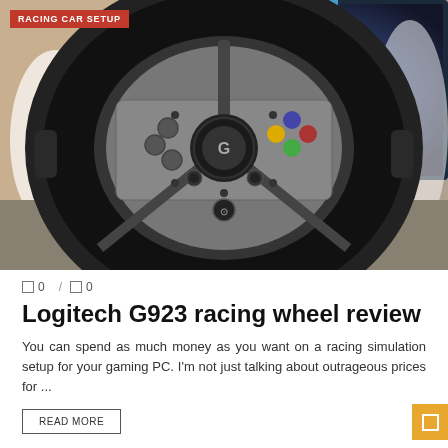[Figure (photo): Photo of a Logitech G923 racing wheel (black leather rim with silver center hub, controller buttons, Logitech G logo and Xbox logo) mounted on a desk with a gaming PC monitor in the background.]
RACING CAR SETUP
0 / 0
Logitech G923 racing wheel review
You can spend as much money as you want on a racing simulation setup for your gaming PC. I’m not just talking about outrageous prices for ...
READ MORE